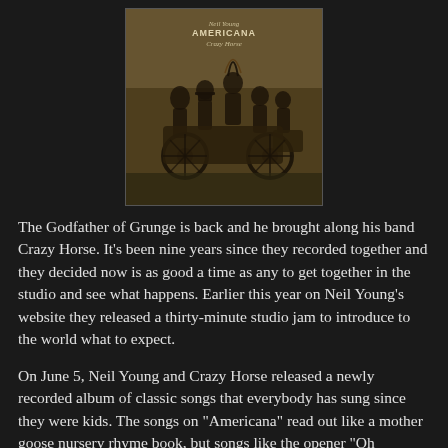[Figure (photo): Album cover for 'Americana' by Neil Young and Crazy Horse. Sepia-toned vintage photograph showing a group of people in period costumes around an old automobile in a field. Text at top reads 'Neil Young Americana Crazy Horse'.]
The Godfather of Grunge is back and he brought along his band Crazy Horse. It's been nine years since they recorded together and they decided now is as good a time as any to get together in the studio and see what happens. Earlier this year on Neil Young's website they released a thirty-minute studio jam to introduce to the world what to expect.
On June 5, Neil Young and Crazy Horse released a newly recorded album of classic songs that everybody has sung since they were kids. The songs on "Americana" read out like a mother goose nursery rhyme book, but songs like the opener "Oh Susannah" and "Tom Dooley" are given a darker tone when performed by Young and Crazy Horse. The single dull thrum of a two-note rhythm guitar...